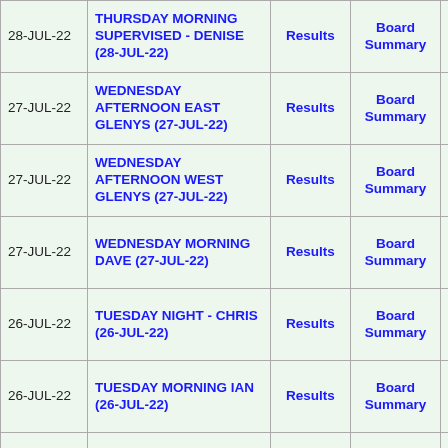| Date | Session | Results | Board Summary | Detailed Boards Analysis |
| --- | --- | --- | --- | --- |
| 28-JUL-22 | THURSDAY MORNING SUPERVISED - DENISE (28-JUL-22) | Results | Board Summary | Detailed Boards Analysis |
| 27-JUL-22 | WEDNESDAY AFTERNOON EAST GLENYS (27-JUL-22) | Results | Board Summary | Detailed Boards Analysis |
| 27-JUL-22 | WEDNESDAY AFTERNOON WEST GLENYS (27-JUL-22) | Results | Board Summary | Detailed Boards Analysis |
| 27-JUL-22 | WEDNESDAY MORNING DAVE (27-JUL-22) | Results | Board Summary | Detailed Boards Analysis |
| 26-JUL-22 | TUESDAY NIGHT - CHRIS (26-JUL-22) | Results | Board Summary | Detailed Boards Analysis |
| 26-JUL-22 | TUESDAY MORNING IAN (26-JUL-22) | Results | Board Summary | Detailed Boards Analysis |